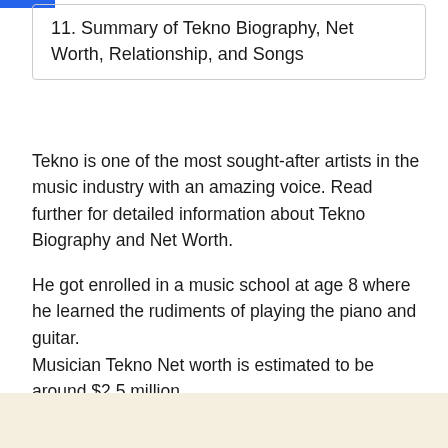11. Summary of Tekno Biography, Net Worth, Relationship, and Songs
Tekno is one of the most sought-after artists in the music industry with an amazing voice. Read further for detailed information about Tekno Biography and Net Worth.
He got enrolled in a music school at age 8 where he learned the rudiments of playing the piano and guitar.
Musician Tekno Net worth is estimated to be around $2.5 million.
Tekno Biography